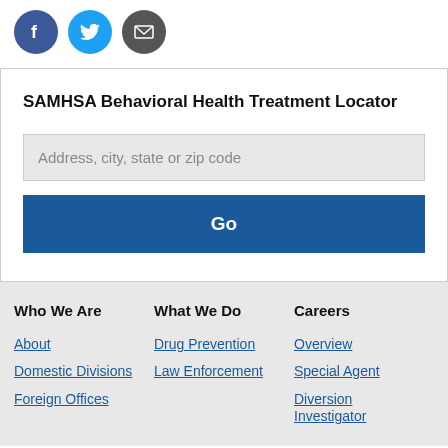[Figure (other): Three social media icons: Facebook (blue circle with f), Twitter (light blue circle with bird), Email (gray circle with envelope)]
SAMHSA Behavioral Health Treatment Locator
Address, city, state or zip code
Go
Who We Are
What We Do
Careers
About
Domestic Divisions
Foreign Offices
Drug Prevention
Law Enforcement
Overview
Special Agent
Diversion Investigator